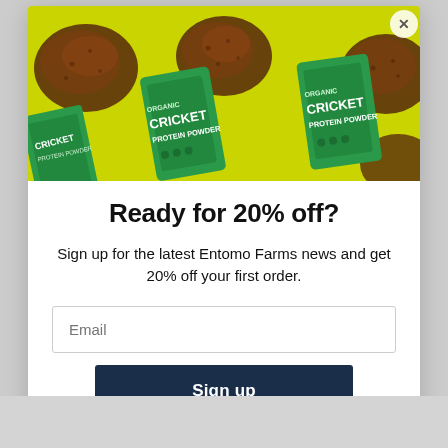[Figure (photo): Product photo showing multiple green bags of Entomo Farms Organic Cricket Protein Powder arranged on a bright yellow-green background, with piles of brown cricket powder scattered around them.]
Ready for 20% off?
Sign up for the latest Entomo Farms news and get 20% off your first order.
Email
Sign up